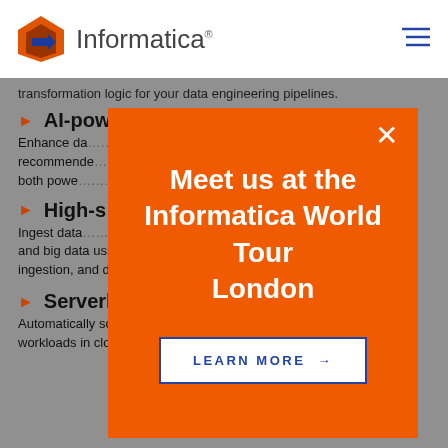Informatica
transformation logic for your data engineering pipelines.
AI-powered … ns
Enhance da… pipeline recommende… rization, both powe…
High-s…
Ingest data … s into cloud and big data using high-performance connectivity, mass ingestion, and dynamic mappings.
Serverless deployment
Automatically scale and deploy big data engineering workloads in cloud environments, such as Amazon Web
[Figure (screenshot): Orange modal popup overlay on Informatica website page. Modal contains text 'Meet us at the Informatica World Tour London' in bold white, and a white button with blue text 'LEARN MORE →'. There is a white X close button in the top right corner of the modal.]